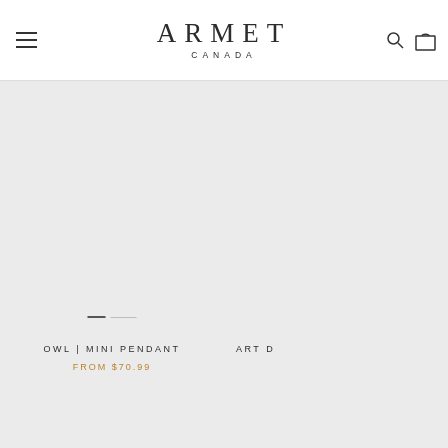ARMET CANADA
[Figure (photo): Product image area for OWL | MINI PENDANT, light grey/empty product image with slider indicator]
OWL | MINI PENDANT
FROM $70.99
ART D